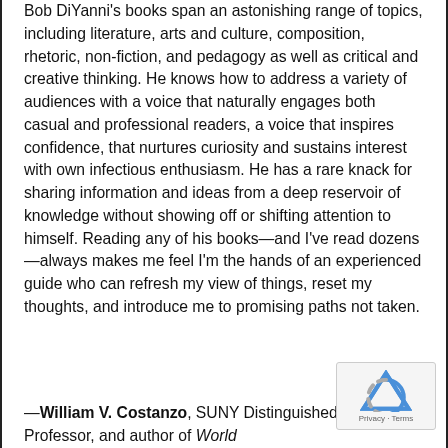Bob DiYanni's books span an astonishing range of topics, including literature, arts and culture, composition, rhetoric, non-fiction, and pedagogy as well as critical and creative thinking. He knows how to address a variety of audiences with a voice that naturally engages both casual and professional readers, a voice that inspires confidence, that nurtures curiosity and sustains interest with own infectious enthusiasm. He has a rare knack for sharing information and ideas from a deep reservoir of knowledge without showing off or shifting attention to himself. Reading any of his books—and I've read dozens—always makes me feel I'm the hands of an experienced guide who can refresh my view of things, reset my thoughts, and introduce me to promising paths not taken.
—William V. Costanzo, SUNY Distinguished Teaching Professor, and author of World